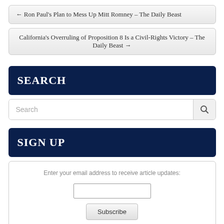← Ron Paul's Plan to Mess Up Mitt Romney – The Daily Beast
California's Overruling of Proposition 8 Is a Civil-Rights Victory – The Daily Beast →
SEARCH
Search
SIGN UP
Enter your email address to receive article updates:
Subscribe